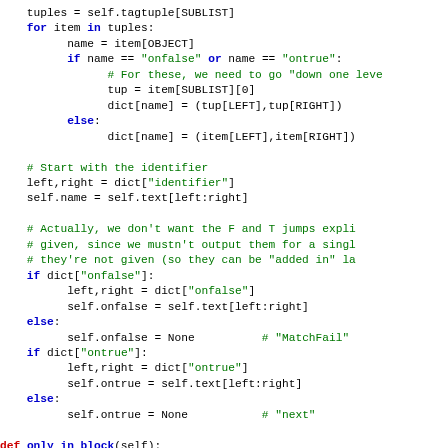[Figure (screenshot): Python source code snippet showing a for loop, dictionary assignments, and method definitions with syntax highlighting in blue, green, and red colors on white background.]